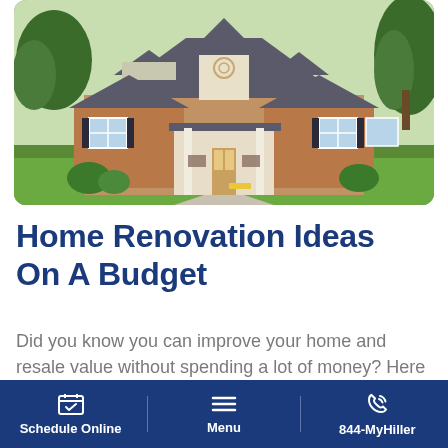[Figure (photo): Exterior photo of a single-story brick ranch house with gray roof, white trim, front porch with rocking chairs, green lawn, and trees in background]
Home Renovation Ideas On A Budget
Did you know you can improve your home and resale value without spending a lot of money? Here are home renovation ideas on a budget.
12 Minute Read
Schedule Online | Menu | 844-MyHiller